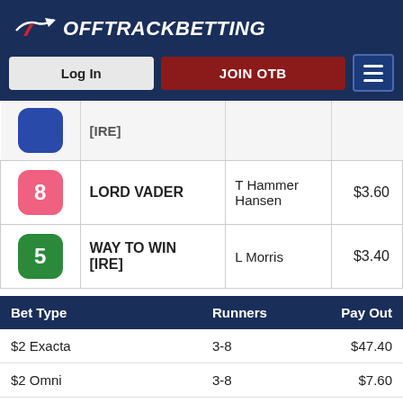OffTrackBetting
| # | Horse | Jockey | Odds |
| --- | --- | --- | --- |
| [IRE] |  |  |  |
| 8 | LORD VADER | T Hammer Hansen | $3.60 |
| 5 | WAY TO WIN [IRE] | L Morris | $3.40 |
| Bet Type | Runners | Pay Out |
| --- | --- | --- |
| $2 Exacta | 3-8 | $47.40 |
| $2 Omni | 3-8 | $7.60 |
| $2 Omni | 3-5 | $9.80 |
| $2 Omni | 5-8 | $12... |
| $2 Trifecta | 3-8-5 | $225.00 |